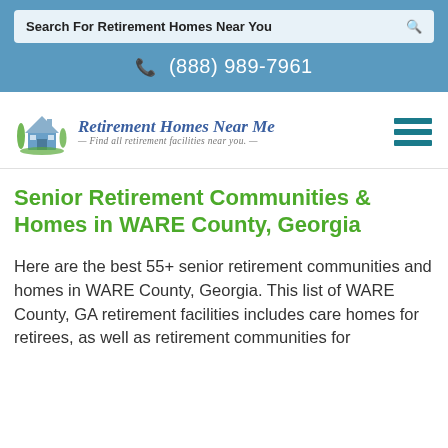Search For Retirement Homes Near You
(888) 989-7961
[Figure (logo): Retirement Homes Near Me logo with house icon and tagline: Find all retirement facilities near you.]
Senior Retirement Communities & Homes in WARE County, Georgia
Here are the best 55+ senior retirement communities and homes in WARE County, Georgia. This list of WARE County, GA retirement facilities includes care homes for retirees, as well as retirement communities for